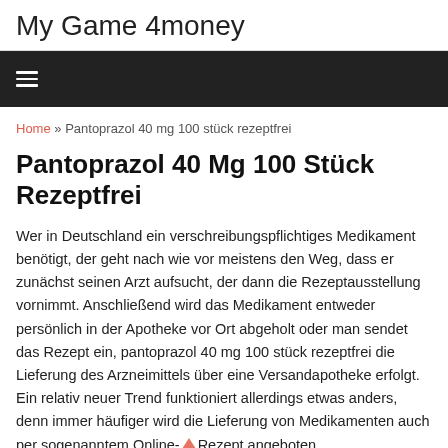My Game 4money
≡
Home » Pantoprazol 40 mg 100 stück rezeptfrei
Pantoprazol 40 Mg 100 Stück Rezeptfrei
Wer in Deutschland ein verschreibungspflichtiges Medikament benötigt, der geht nach wie vor meistens den Weg, dass er zunächst seinen Arzt aufsucht, der dann die Rezeptausstellung vornimmt. Anschließend wird das Medikament entweder persönlich in der Apotheke vor Ort abgeholt oder man sendet das Rezept ein, pantoprazol 40 mg 100 stück rezeptfrei die Lieferung des Arzneimittels über eine Versandapotheke erfolgt. Ein relativ neuer Trend funktioniert allerdings etwas anders, denn immer häufiger wird die Lieferung von Medikamenten auch per sogenanntem Online-Rezept angeboten.